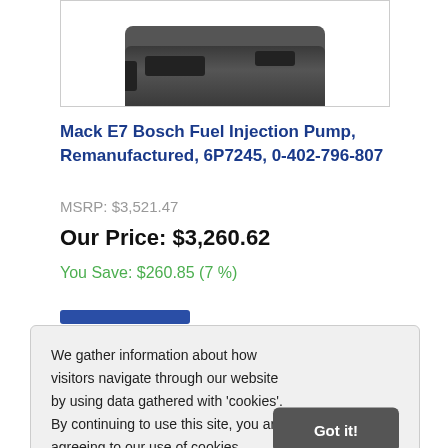[Figure (photo): Fuel injection pump product photo, dark colored industrial pump component shown against white background]
Mack E7 Bosch Fuel Injection Pump, Remanufactured, 6P7245, 0-402-796-807
MSRP: $3,521.47
Our Price: $3,260.62
You Save: $260.85 (7 %)
We gather information about how visitors navigate through our website by using data gathered with 'cookies'. By continuing to use this site, you are agreeing to our use of cookies. Learn more